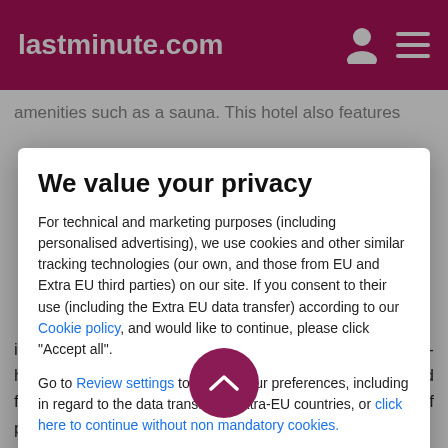lastminute.com
amenities such as a sauna. This hotel also features
We value your privacy
For technical and marketing purposes (including personalised advertising), we use cookies and other similar tracking technologies (our own, and those from EU and Extra EU third parties) on our site. If you consent to their use (including the Extra EU data transfer) according to our Cookie policy, and would like to continue, please click "Accept all".
Go to Review settings to update your preferences, including in regard to the data transfer in Extra-EU countries, or click here to continue without non mandatory cookies.
ACCEPT ALL
in the lobby, dry cleaning/laundry services, and a 24-hour front desk. A roundtrip airport shuttle is provided for a surcharge (available 24 hours), and free self parking is available onsite.